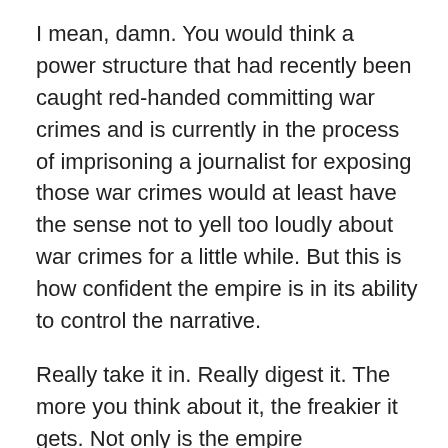I mean, damn. You would think a power structure that had recently been caught red-handed committing war crimes and is currently in the process of imprisoning a journalist for exposing those war crimes would at least have the sense not to yell too loudly about war crimes for a little while. But this is how confident the empire is in its ability to control the narrative.
Really take it in. Really digest it. The more you think about it, the freakier it gets. Not only is the empire persecuting a journalist for exposing its war crimes while at the same time demanding that others be held accountable for war crimes, it is also attacking the free press for reporting the truth about the powerful while at the very same time engaging in a massive propaganda operation which holds that it is involved in Ukraine to protect its freedom and